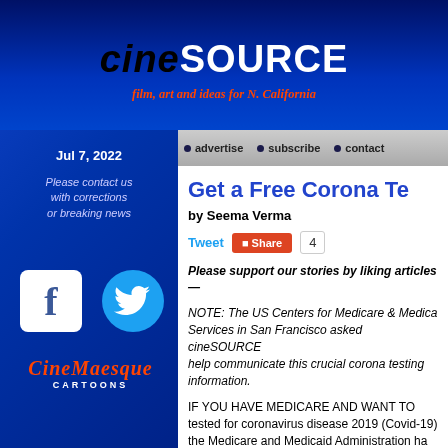cineSOURCE
film, art and ideas for N. California
Jul 7, 2022
Please contact us with corrections or breaking news
[Figure (logo): Facebook logo icon - white F on white rounded rectangle]
[Figure (logo): Twitter bird icon on blue circle]
[Figure (logo): Cinemaesque Cartoons logo in orange italic text]
advertise  subscribe  contact
Get a Free Corona Te
by Seema Verma
Tweet  Share  4
Please support our stories by liking articles—
NOTE: The US Centers for Medicare & Medicaid Services in San Francisco asked cineSOURCE to help communicate this crucial corona testing information.
IF YOU HAVE MEDICARE AND WANT TO tested for coronavirus disease 2019 (Covid-19) the Medicare and Medicaid Administration ha